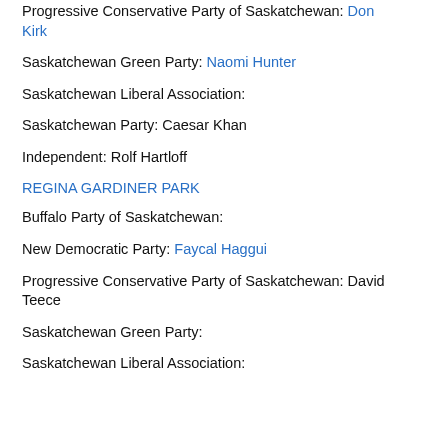Progressive Conservative Party of Saskatchewan: Don Kirk
Saskatchewan Green Party: Naomi Hunter
Saskatchewan Liberal Association:
Saskatchewan Party: Caesar Khan
Independent: Rolf Hartloff
REGINA GARDINER PARK
Buffalo Party of Saskatchewan:
New Democratic Party: Faycal Haggui
Progressive Conservative Party of Saskatchewan: David Teece
Saskatchewan Green Party:
Saskatchewan Liberal Association: